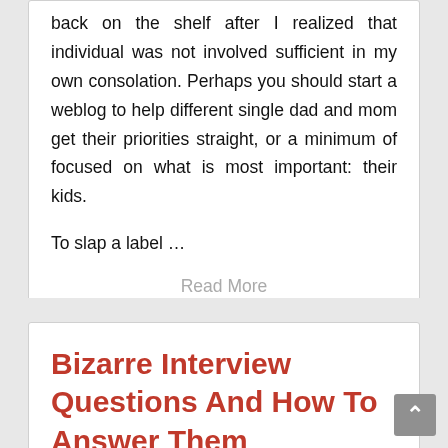back on the shelf after I realized that individual was not involved sufficient in my own consolation. Perhaps you should start a weblog to help different single dad and mom get their priorities straight, or a minimum of focused on what is most important: their kids.
To slap a label …
Read More
Posted in Single Parent  Tagged interview, single, struggling
Bizarre Interview Questions And How To Answer Them